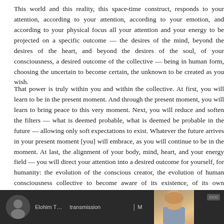This world and this reality, this space-time construct, responds to your attention, according to your attention, according to your emotion, and according to your physical focus all your attention and your energy to be projected on a specific outcome — the desires of the mind, beyond the desires of the heart, and beyond the desires of the soul, of your consciousness, a desired outcome of the collective — being in human form, choosing the uncertain to become certain, the unknown to be created as you wish.
That power is truly within you and within the collective. At first, you will learn to be in the present moment. And through the present moment, you will learn to bring peace to this very moment. Next, you will reduce and soften the filters — what is deemed probable, what is deemed be probable in the future — allowing only soft expectations to exist. Whatever the future arrives in your present moment [you] will embrace, as you will continue to be in the moment. At last, the alignment of your body, mind, heart, and your energy field — you will direct your attention into a desired outcome for yourself, for humanity: the evolution of the conscious creator, the evolution of human consciousness collective to become aware of its existence, of its own evolution, of its own expansion.
Thank you for listening to our words. We will now commence with the adjustment
[Figure (screenshot): Video player screenshot showing a circular avatar thumbnail on the left, a speaker name text 'Elohim Transmission' or similar partially visible, and a portrait image of a person (woman with blonde hair), with a badge/logo on the right side. Dark background strip.]